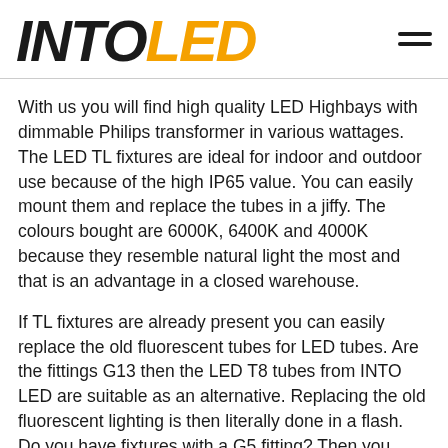INTOLED
With us you will find high quality LED Highbays with dimmable Philips transformer in various wattages. The LED TL fixtures are ideal for indoor and outdoor use because of the high IP65 value. You can easily mount them and replace the tubes in a jiffy. The colours bought are 6000K, 6400K and 4000K because they resemble natural light the most and that is an advantage in a closed warehouse.
If TL fixtures are already present you can easily replace the old fluorescent tubes for LED tubes. Are the fittings G13 then the LED T8 tubes from INTO LED are suitable as an alternative. Replacing the old fluorescent lighting is then literally done in a flash. Do you have fixtures with a G5 fitting? Then you have to look for T5 tubes.